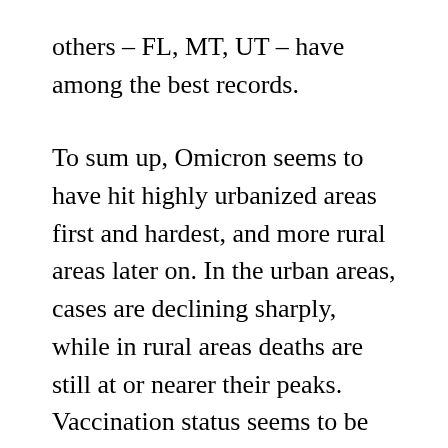others – FL, MT, UT – have among the best records.
To sum up, Omicron seems to have hit highly urbanized areas first and hardest, and more rural areas later on. In the urban areas, cases are declining sharply, while in rural areas deaths are still at or nearer their peaks. Vaccination status seems to be only weakly correlated with Omicron outcomes. This probably doesn't have anything to do with any shortcomings in the vaccines, but rather the effect of recent bad Delta outbreaks (concentrated in the poorly vaccinated States) providing some protection against the worst